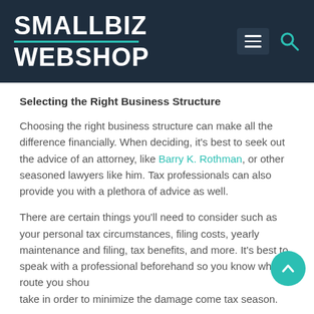SMALLBIZ WEBSHOP
Selecting the Right Business Structure
Choosing the right business structure can make all the difference financially. When deciding, it's best to seek out the advice of an attorney, like Barry K. Rothman, or other seasoned lawyers like him. Tax professionals can also provide you with a plethora of advice as well.
There are certain things you'll need to consider such as your personal tax circumstances, filing costs, yearly maintenance and filing, tax benefits, and more. It's best to speak with a professional beforehand so you know what route you should take in order to minimize the damage come tax season.